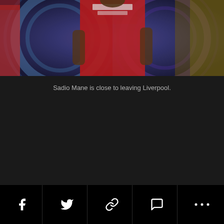[Figure (photo): A football player wearing a red Liverpool FC jersey with Standard Chartered sponsor, standing on a pitch with a blurred colorful background showing circular design elements]
Sadio Mane is close to leaving Liverpool.